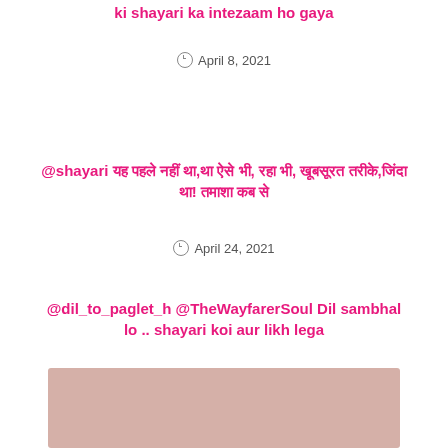@mention Thanks so much for this up Aur ki shayari ka intezaam ho gaya
April 8, 2021
@shayari यह पहले नहीं था,था ऐसे भी, रहा भी, खूबसूरत तरीके,जिंदा था! तमाशा कब से
April 24, 2021
@dil_to_paglet_h @TheWayfarerSoul Dil sambhal lo .. shayari koi aur likh lega
February 27, 2021
[Figure (illustration): Pink/mauve colored rectangular box at the bottom of the page]